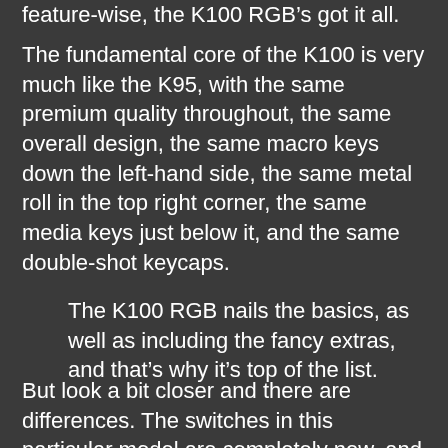feature-wise, the K100 RGB's got it all.
The fundamental core of the K100 is very much like the K95, with the same premium quality throughout, the same overall design, the same macro keys down the left-hand side, the same metal roll in the top right corner, the same media keys just below it, and the same double-shot keycaps.
The K100 RGB nails the basics, as well as including the fancy extras, and that's why it's top of the list.
But look a bit closer and there are differences. The switches in this particular model are completely new, and are in fact Corsair's first